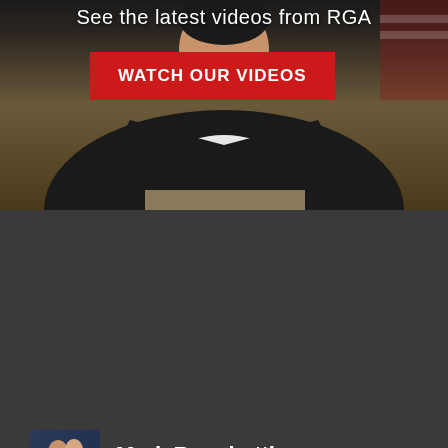See the latest videos from RGA
[Figure (photo): A person in a dark jacket and khaki pants seated, with hands clasped, against a dark background with an American flag visible]
WATCH OUR VIDEOS
Mark Ronchetti @MarkRonchettiNM
🎙 FORUM UPDATE I'm excited to be here at @NAIOPNM today to share my vision for New Mexico